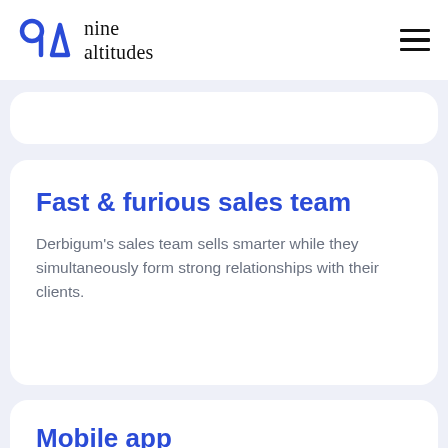[Figure (logo): Nine Altitudes logo with blue geometric 9A symbol and serif text 'nine altitudes']
Fast & furious sales team
Derbigum's sales team sells smarter while they simultaneously form strong relationships with their clients.
Mobile app